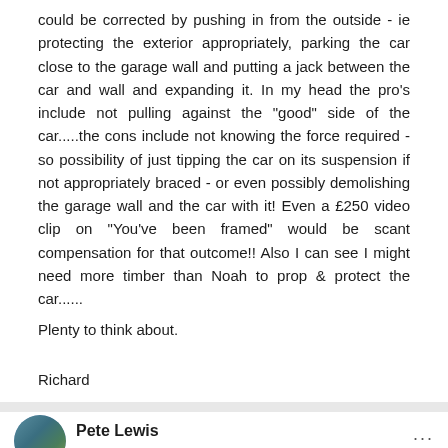could be corrected by pushing in from the outside - ie protecting the exterior appropriately, parking the car close to the garage wall and putting a jack between the car and wall and expanding it. In my head the pro's include not pulling against the "good" side of the car.....the cons include not knowing the force required - so possibility of just tipping the car on its suspension if not appropriately braced - or even possibly demolishing the garage wall and the car with it! Even a £250 video clip on "You've been framed" would be scant compensation for that outcome!! Also I can see I might need more timber than Noah to prop & protect the car......
Plenty to think about.
Richard
Pete Lewis